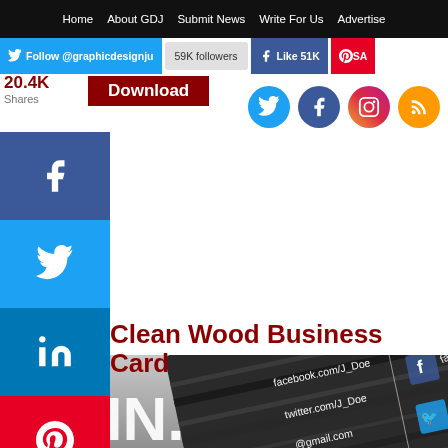Home | About GDJ | Submit News | Write For Us | Advertise
Follow @graphicdesignju | 59K followers | Like 51K | SA
20.4K Shares Download
Clean Wood Business Card
[Figure (photo): Black and white photo of Clean Wood Business Card mockup showing JOHN text and social media handles facebook.com/J_Doe, twitter.com/J_Doe, @gmail.com]